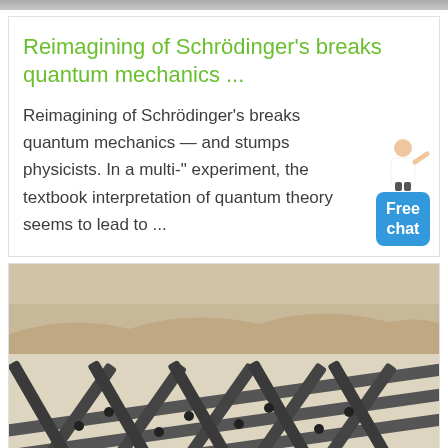[Figure (photo): Top strip of a photo, partially cropped, showing what appears to be a person or scene]
Reimagining of Schrödinger's breaks quantum mechanics ...
Reimagining of Schrödinger's breaks quantum mechanics — and stumps physicists. In a multi-" experiment, the textbook interpretation of quantum theory seems to lead to ...
[Figure (photo): Photo of metal scaffolding or framework structure lying on sandy/rocky ground, shot from a low angle]
[Figure (illustration): Free chat widget with a person figure and a blue button labeled 'Free chat']